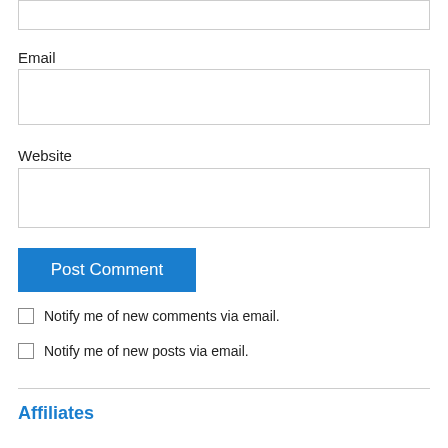Email
Website
Post Comment
Notify me of new comments via email.
Notify me of new posts via email.
Affiliates